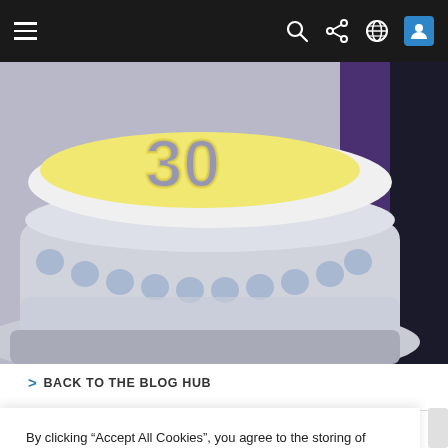[Figure (screenshot): Top navigation bar with hamburger menu icon on the left and search, share, globe, and user profile icons on the right, on a dark background]
[Figure (photo): Close-up photo of a celebration cake with blue/grey frosting border, yellow top, and decorative number on top, with purple and black background elements]
> BACK TO THE BLOG HUB
By clicking “Accept All Cookies”, you agree to the storing of cookies on your device to enhance site navigation, analyze site usage, and assist in our marketing efforts.
Accept All Cookies
Cookies Settings